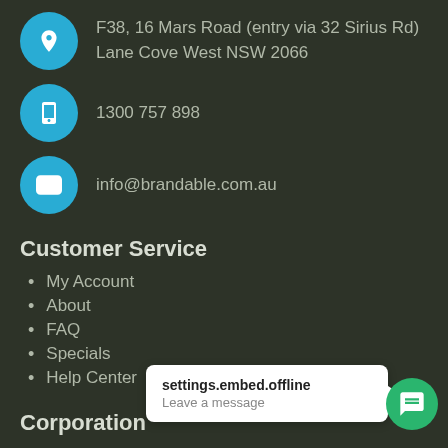F38, 16 Mars Road (entry via 32 Sirius Rd) Lane Cove West NSW 2066
1300 757 898
info@brandable.com.au
Customer Service
My Account
About
FAQ
Specials
Help Center
Corporation
settings.embed.offline
Leave a message